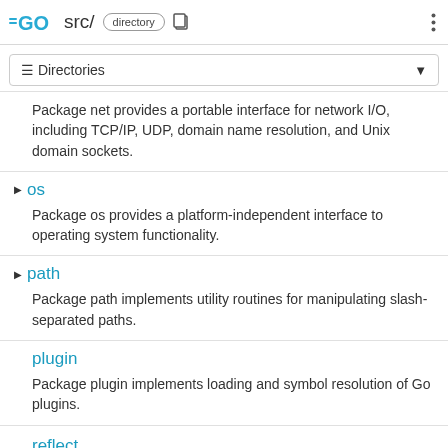GO srcl directory
≡ Directories
Package net provides a portable interface for network I/O, including TCP/IP, UDP, domain name resolution, and Unix domain sockets.
os — Package os provides a platform-independent interface to operating system functionality.
path — Package path implements utility routines for manipulating slash-separated paths.
plugin — Package plugin implements loading and symbol resolution of Go plugins.
reflect